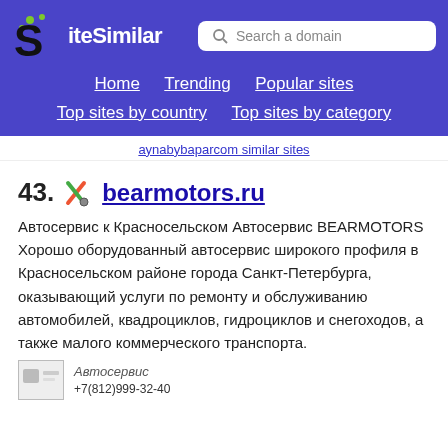SiteSimilar — Search a domain — Home | Trending | Popular sites | Top sites by country | Top sites by category
aynabybaparcom similar sites
43. bearmotors.ru
Автосервис к Красносельском Автосервис BEARMOTORS Хорошо оборудованный автосервис широкого профиля в Красносельском районе города Санкт-Петербурга, оказывающий услуги по ремонту и обслуживанию автомобилей, квадроциклов, гидроциклов и снегоходов, а также малого коммерческого транспорта.
[Figure (screenshot): Small thumbnail preview of bearmotors.ru website showing logo and phone number +7(812)999-32-40]